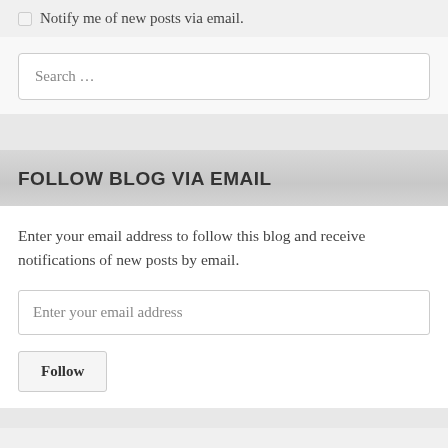Notify me of new posts via email.
[Figure (screenshot): Search input field with placeholder text 'Search ...']
FOLLOW BLOG VIA EMAIL
Enter your email address to follow this blog and receive notifications of new posts by email.
[Figure (screenshot): Email input field with placeholder 'Enter your email address' and a Follow button below]